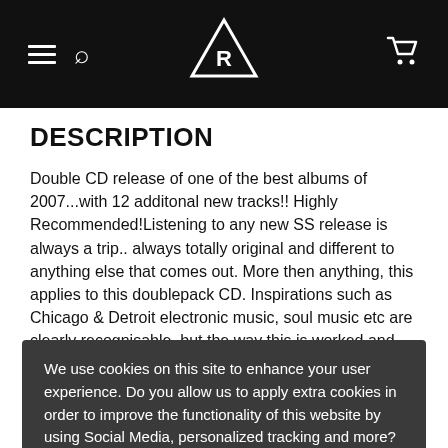[Figure (screenshot): Black navigation bar with hamburger menu, search icon, stylized logo (RG/brand mark), and shopping cart icon]
DESCRIPTION
Double CD release of one of the best albums of 2007...with 12 additonal new tracks!! Highly Recommended!Listening to any new SS release is always a trip.. always totally original and different to anything else that comes out. More then anything, this applies to this doublepack CD. Inspirations such as Chicago & Detroit electronic music, soul music etc are clearly recognisable, but the way this is worked and moulded into his own productions is what grabs us. It's definately taking things 3 steps further.. On this album you'll find
We use cookies on this site to enhance your user experience. Do you allow us to apply extra cookies in order to improve the functionality of this website by using Social Media, personalized tracking and more? Read more about our Privacy Policy.